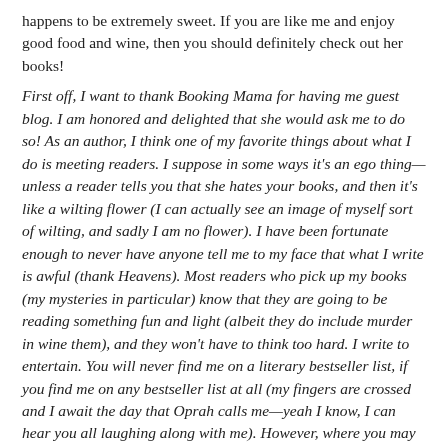happens to be extremely sweet. If you are like me and enjoy good food and wine, then you should definitely check out her books!
First off, I want to thank Booking Mama for having me guest blog. I am honored and delighted that she would ask me to do so! As an author, I think one of my favorite things about what I do is meeting readers. I suppose in some ways it's an ego thing—unless a reader tells you that she hates your books, and then it's like a wilting flower (I can actually see an image of myself sort of wilting, and sadly I am no flower). I have been fortunate enough to never have anyone tell me to my face that what I write is awful (thank Heavens). Most readers who pick up my books (my mysteries in particular) know that they are going to be reading something fun and light (albeit they do include murder in wine them), and they won't have to think too hard. I write to entertain. You will never find me on a literary bestseller list, if you find me on any bestseller list at all (my fingers are crossed and I await the day that Oprah calls me—yeah I know, I can hear you all laughing along with me). However, where you may find me is in the home of one of my readers, seated amongst a handful